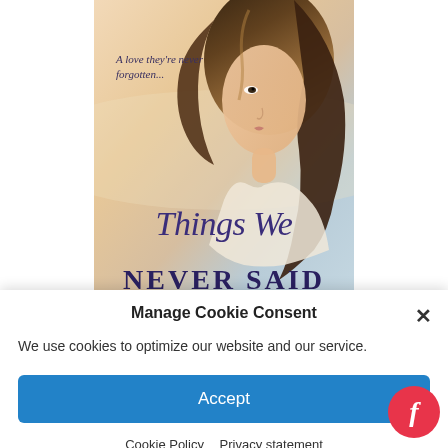[Figure (illustration): Book cover for 'Things We Never Said'. Shows a young woman with long brown hair looking to the side, on a soft warm beige/peachy background. Tagline reads 'A love they've never forgotten...' in italic. Title 'Things We' in large cursive script and 'NEVER SAID' in bold serif capitals below.]
Manage Cookie Consent
We use cookies to optimize our website and our service.
Accept
Cookie Policy  Privacy statement